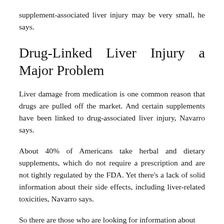supplement-associated liver injury may be very small, he says.
Drug-Linked Liver Injury a Major Problem
Liver damage from medication is one common reason that drugs are pulled off the market. And certain supplements have been linked to drug-associated liver injury, Navarro says.
About 40% of Americans take herbal and dietary supplements, which do not require a prescription and are not tightly regulated by the FDA. Yet there’s a lack of solid information about their side effects, including liver-related toxicities, Navarro says.
So there are those who are looking for information about